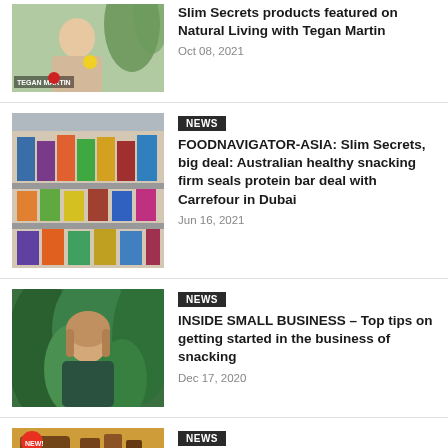Slim Secrets products featured on Natural Living with Tegan Martin — Oct 08, 2021
NEWS — FOODNAVIGATOR-ASIA: Slim Secrets, big deal: Australian healthy snacking firm seals protein bar deal with Carrefour in Dubai — Jun 16, 2021
NEWS — INSIDE SMALL BUSINESS – Top tips on getting started in the business of snacking — Dec 17, 2020
NEWS — SYDNEY UNLEASHED – CHRISTMAS